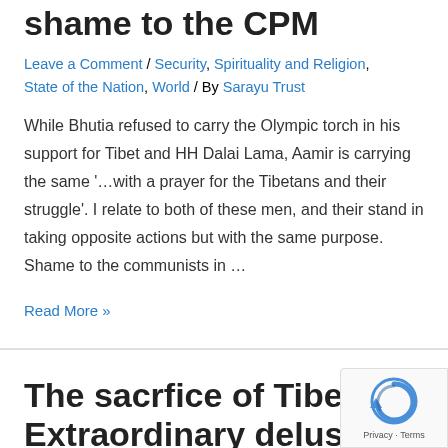shame to the CPM
Leave a Comment / Security, Spirituality and Religion, State of the Nation, World / By Sarayu Trust
While Bhutia refused to carry the Olympic torch in his support for Tibet and HH Dalai Lama, Aamir is carrying the same '…with a prayer for the Tibetans and their struggle'. I relate to both of these men, and their stand in taking opposite actions but with the same purpose. Shame to the communists in …
Read More »
The sacrfice of Tibet: Extraordinary delusions and